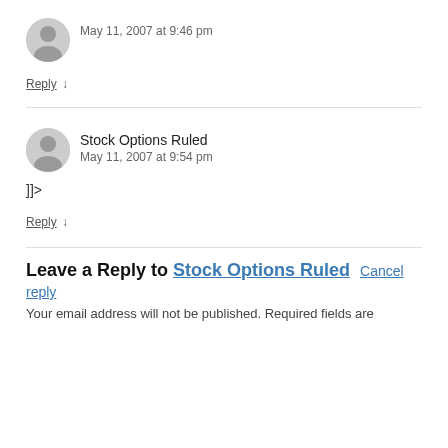May 11, 2007 at 9:46 pm
Reply ↓
Stock Options Ruled
May 11, 2007 at 9:54 pm
]]>
Reply ↓
Leave a Reply to Stock Options Ruled   Cancel reply
Your email address will not be published. Required fields are